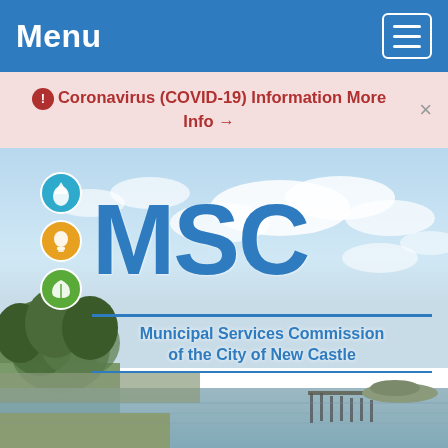Menu
Coronavirus (COVID-19) Information More Info →
[Figure (logo): MSC Municipal Services Commission of the City of New Castle logo with three colored circles (blue water droplet, yellow lightbulb, green leaf) beside large blue MSC text, over a waterfront landscape photo]